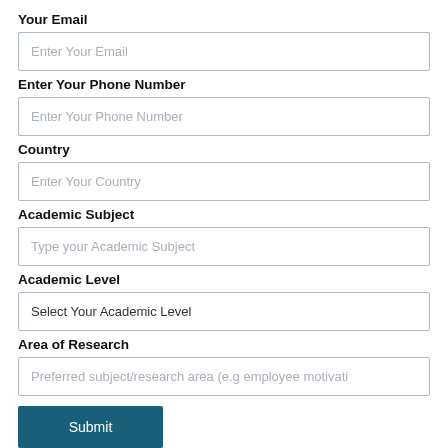Your Email
[Figure (other): Text input field with placeholder 'Enter Your Email']
Enter Your Phone Number
[Figure (other): Text input field with placeholder 'Enter Your Phone Number']
Country
[Figure (other): Text input field with placeholder 'Enter Your Country']
Academic Subject
[Figure (other): Text input field with placeholder 'Type your Academic Subject']
Academic Level
[Figure (other): Dropdown/input field with value 'Select Your Academic Level']
Area of Research
[Figure (other): Text input field with placeholder 'Preferred subject/research area (e.g employee motivati']
Submit